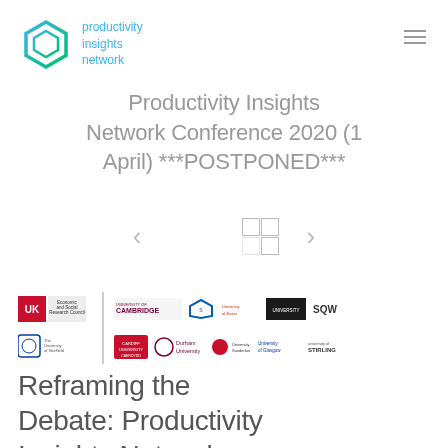[Figure (logo): Productivity Insights Network hexagon logo in teal/green with text 'productivity insights network' in blue]
Productivity Insights Network Conference 2020 (1 April) ***POSTPONED***
[Figure (other): Carousel navigation with left and right arrows and a 2x2 grid icon]
[Figure (logo): Partner institution logos: ESRC, University of Cambridge, University of Strathclyde, University of Essex, University of Leeds, SQW, The University of Sheffield, Cardiff University, Durham University, Sunderland, University of Glasgow, University of Stirling and others]
Reframing the Debate: Productivity Insights Network